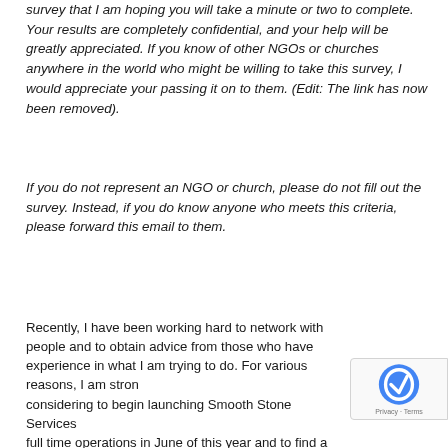survey that I am hoping you will take a minute or two to complete. Your results are completely confidential, and your help will be greatly appreciated. If you know of other NGOs or churches anywhere in the world who might be willing to take this survey, I would appreciate your passing it on to them. (Edit: The link has now been removed).
If you do not represent an NGO or church, please do not fill out the survey. Instead, if you do know anyone who meets this criteria, please forward this email to them.
Recently, I have been working hard to network with people and to obtain advice from those who have experience in what I am trying to do. For various reasons, I am strongly considering to begin launching Smooth Stone Services full time operations in June of this year and to find a part time